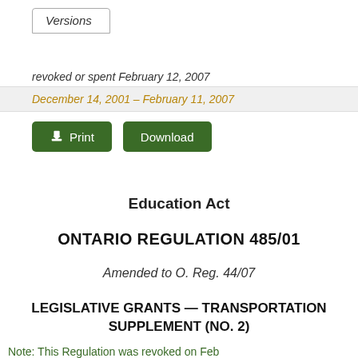Versions
revoked or spent February 12, 2007
December 14, 2001 – February 11, 2007
Print
Download
Education Act
ONTARIO REGULATION 485/01
Amended to O. Reg. 44/07
LEGISLATIVE GRANTS — TRANSPORTATION SUPPLEMENT (NO. 2)
Note: This Regulation was revoked on Feb...